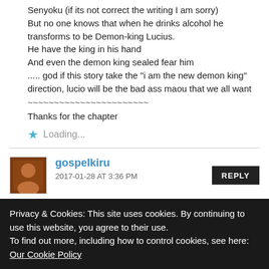Senyoku (if its not correct the writing I am sorry)
But no one knows that when he drinks alcohol he transforms to be Demon-king Lucius.
He have the king in his hand
And even the demon king sealed fear him
..... god if this story take the "i am the new demon king" direction, lucio will be the bad ass maou that we all want
~~~~~~~~~~~~~~~~~~~~~~~
Thanks for the chapter
Loading...
gospelkiru
2017-01-28 AT 3:36 PM
Privacy & Cookies: This site uses cookies. By continuing to use this website, you agree to their use.
To find out more, including how to control cookies, see here: Our Cookie Policy
Close and accept
luckuf